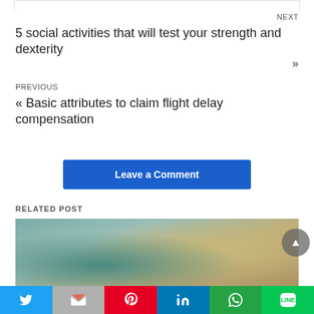NEXT
5 social activities that will test your strength and dexterity »
PREVIOUS
« Basic attributes to claim flight delay compensation
Leave a Comment
RELATED POST
[Figure (photo): Photo of dollar bills and currency scattered on a map/globe surface]
[Figure (other): Social sharing bar with Twitter, Gmail, Pinterest, LinkedIn, WhatsApp, and LINE buttons]